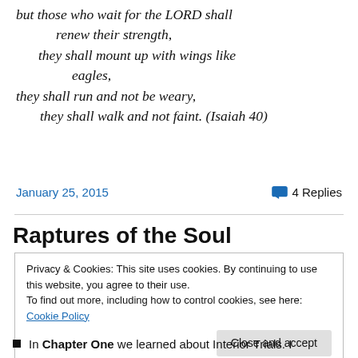but those who wait for the LORD shall renew their strength, they shall mount up with wings like eagles, they shall run and not be weary, they shall walk and not faint. (Isaiah 40)
January 25, 2015   4 Replies
Raptures of the Soul
Privacy & Cookies: This site uses cookies. By continuing to use this website, you agree to their use. To find out more, including how to control cookies, see here: Cookie Policy
Close and accept
In Chapter One we learned about Interior Trials. I